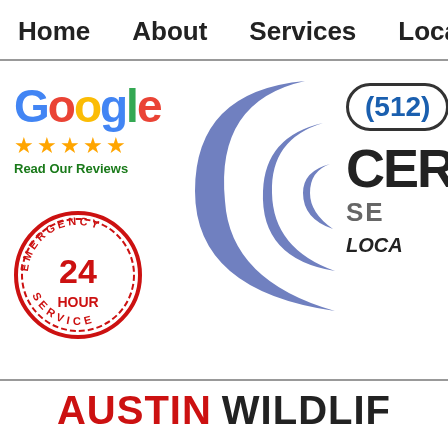Home   About   Services   Location
[Figure (logo): Google five-star rating logo with 'Read Our Reviews' text in green]
[Figure (logo): Blue crescent/signal wave logo for wildlife removal company]
[Figure (logo): Emergency 24 Hour Service circular badge in red]
[Figure (logo): Phone number (512) partially visible in rounded rectangle, company name CER... SE... LOCA... partially visible]
AUSTIN WILDLIF